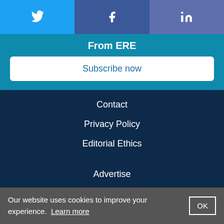[Figure (other): Social share buttons: Twitter, Facebook, LinkedIn]
From ERE
Subscribe now
Contact
Privacy Policy
Editorial Ethics
Advertise
Terms of Service
Code of Conduct
ERE Foundation
Our website uses cookies to improve your experience. Learn more